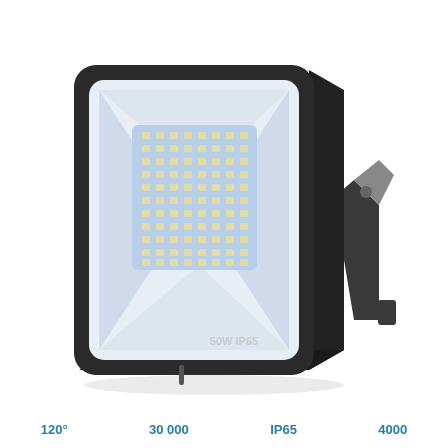[Figure (photo): LED floodlight with black housing, white diffuser panel, SMD LEDs visible, mounted on adjustable bracket. Labeled '50W IP65' on the front face.]
120°    30 000    IP65    4000